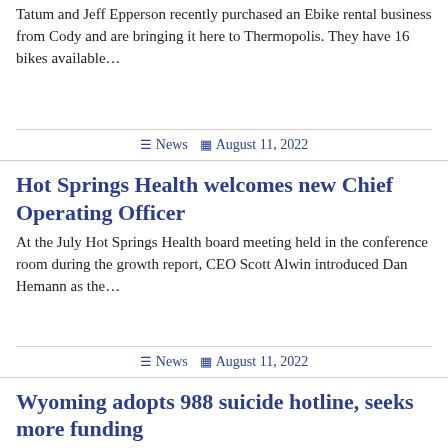Tatum and Jeff Epperson recently purchased an Ebike rental business from Cody and are bringing it here to Thermopolis. They have 16 bikes available…
News  August 11, 2022
Hot Springs Health welcomes new Chief Operating Officer
At the July Hot Springs Health board meeting held in the conference room during the growth report, CEO Scott Alwin introduced Dan Hemann as the…
News  August 11, 2022
Wyoming adopts 988 suicide hotline, seeks more funding
by Carrie Haderlie Wyoming Tribune Eagle Via Wyoming News Exchange CHEYENNE —Ralph